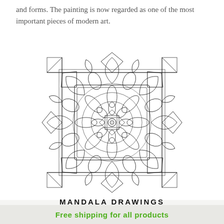and forms. The painting is now regarded as one of the most important pieces of modern art.
[Figure (illustration): Intricate black and white mandala drawing with floral and geometric patterns, multiple layers of petals, leaves, and symmetrical shapes radiating from a central circle.]
MANDALA DRAWINGS
· . .·
Free shipping for all products